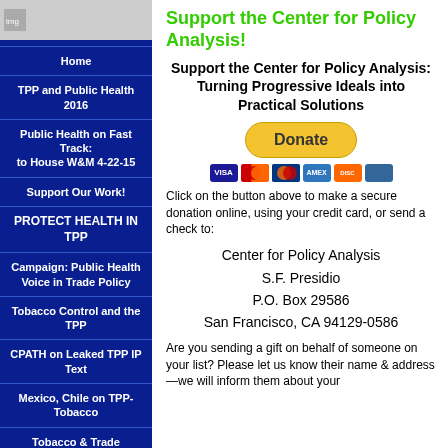Support the Center for Policy Analysis!
Support the Center for Policy Analysis: Turning Progressive Ideals into Practical Solutions
[Figure (other): PayPal Donate button with credit card icons (Visa, Mastercard, Maestro, American Express, Discover, other)]
Click on the button above to make a secure donation online, using your credit card, or send a check to:
Center for Policy Analysis
S.F. Presidio
P.O. Box 29586
San Francisco, CA 94129-0586
Are you sending a gift on behalf of someone on your list? Please let us know their name & address—we will inform them about your
Home
TPP and Public Health 2016
Public Health on Fast Track: to House W&M 4-22-15
Support Our Work!
PROTECT HEALTH IN TPP
Campaign: Public Health Voice in Trade Policy
Tobacco Control and the TPP
CPATH on Leaked TPP IP Text
Mexico, Chile on TPP-Tobacco
Tobacco & Trade Consortium 2013
2012: Health Advocates Assert Carve-Out; U.S. Weak TPP/Tobacco Proposal